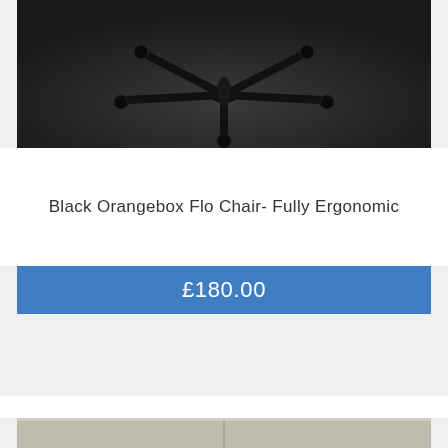[Figure (photo): Bottom view of a black office chair with caster wheels and star base on a dark background]
Black Orangebox Flo Chair- Fully Ergonomic
£180.00
[Figure (photo): Partial view of another product listing below, showing a light-colored surface]